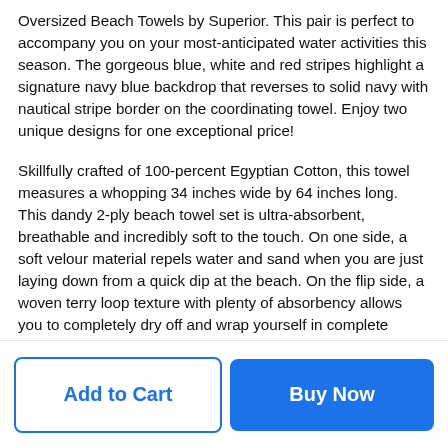Oversized Beach Towels by Superior. This pair is perfect to accompany you on your most-anticipated water activities this season. The gorgeous blue, white and red stripes highlight a signature navy blue backdrop that reverses to solid navy with nautical stripe border on the coordinating towel. Enjoy two unique designs for one exceptional price!
Skillfully crafted of 100-percent Egyptian Cotton, this towel measures a whopping 34 inches wide by 64 inches long. This dandy 2-ply beach towel set is ultra-absorbent, breathable and incredibly soft to the touch. On one side, a soft velour material repels water and sand when you are just laying down from a quick dip at the beach. On the flip side, a woven terry loop texture with plenty of absorbency allows you to completely dry off and wrap yourself in complete luxury to keep cozy and warm.
Care Instruction: These towels become softer after every wash and their outstanding absorbency factor remains intact. They are long-lasting and will never bleed colors. Just toss these colorfast beach
Add to Cart
Buy Now